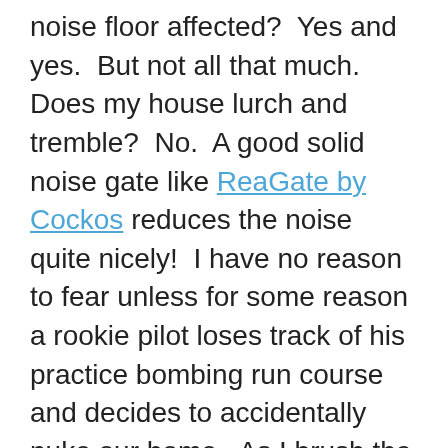noise floor affected?  Yes and yes.  But not all that much.  Does my house lurch and tremble?  No.  A good solid noise gate like ReaGate by Cockos reduces the noise quite nicely!  I have no reason to fear unless for some reason a rookie pilot loses track of his practice bombing run course and decides to accidentally nuke our home.  As I brush the smoldering ashes of our new palace off of my shoulders, I will sigh, look up in the sky and ponder why we didn't just move to some place like that little island that Tom Hanks and Wilson moved to.  It had everything: peace and quiet, coconuts, crab, fish, and lots of Fedex mail that